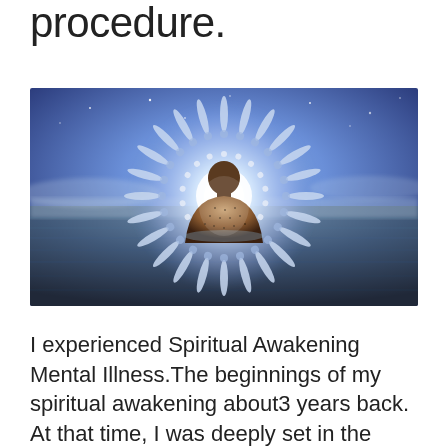procedure.
[Figure (illustration): Digital illustration of a person viewed from behind, standing waist-deep in water, with a large glowing mandala/sunburst energy pattern radiating from their back against a blue cosmic sky.]
I experienced Spiritual Awakening Mental Illness.The beginnings of my spiritual awakening about3 years back. At that time, I was deeply set in the lessons and cultish